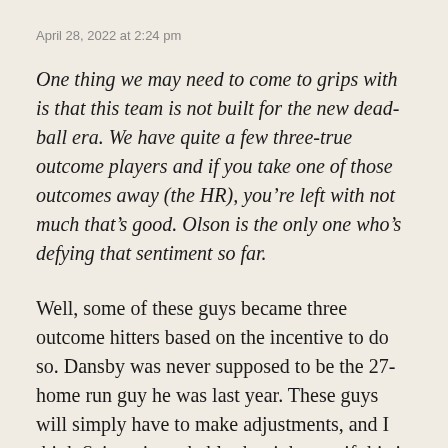April 28, 2022 at 2:24 pm
One thing we may need to come to grips with is that this team is not built for the new dead-ball era. We have quite a few three-true outcome players and if you take one of those outcomes away (the HR), you’re left with not much that’s good. Olson is the only one who’s defying that sentiment so far.
Well, some of these guys became three outcome hitters based on the incentive to do so. Dansby was never supposed to be the 27-home run guy he was last year. These guys will simply have to make adjustments, and I think Seitzer is probably the right guy if this is